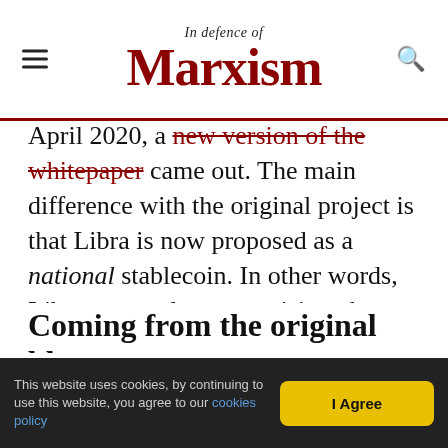In defence of Marxism
April 2020, a new version of the whitepaper came out. The main difference with the original project is that Libra is now proposed as a national stablecoin. In other words, Libra was no longer envisioned as a single global currency but as a digital version of the dollar, the euro, etc, backed by a fund with assets denominated in that currency. The Association also made many humble remarks on how it was willing to collaborate with financial regulators. It is now very unlikely that Libra will see the light of day any time soon.
Coming from the original block...
This website uses cookies, by continuing to use this website, you agree to our cookies policy   I Agree